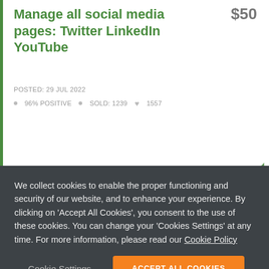Manage all social media pages: Twitter LinkedIn YouTube
$50
POSTED: 29 JUL 2022
96% POSITIVE • SOLD: 1239 ♥ 1557
Ritesh S. London, GB
★★★★★
Excellent work
We collect cookies to enable the proper functioning and security of our website, and to enhance your experience. By clicking on 'Accept All Cookies', you consent to the use of these cookies. You can change your 'Cookies Settings' at any time. For more information, please read our Cookie Policy
Cookie Settings
ACCEPT ALL COOKIES